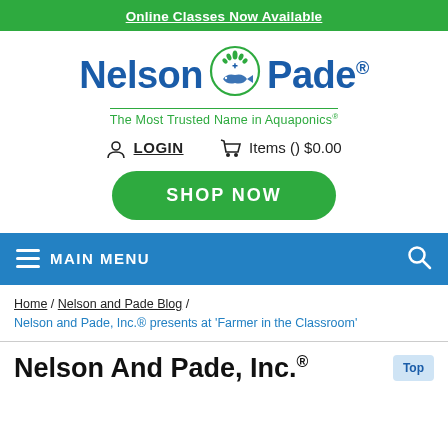Online Classes Now Available
[Figure (logo): Nelson and Pade logo with fish and plant icon. Text: Nelson Pade® — The Most Trusted Name in Aquaponics®]
LOGIN   Items () $0.00
SHOP NOW
☰ MAIN MENU
Home / Nelson and Pade Blog / Nelson and Pade, Inc.® presents at 'Farmer in the Classroom'
Nelson And Pade, Inc.®